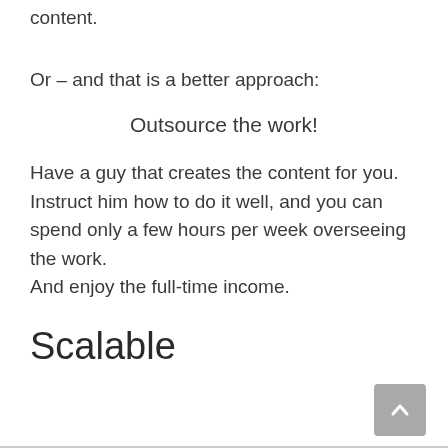content.
Or – and that is a better approach:
Outsource the work!
Have a guy that creates the content for you.
Instruct him how to do it well, and you can spend only a few hours per week overseeing the work.
And enjoy the full-time income.
Scalable